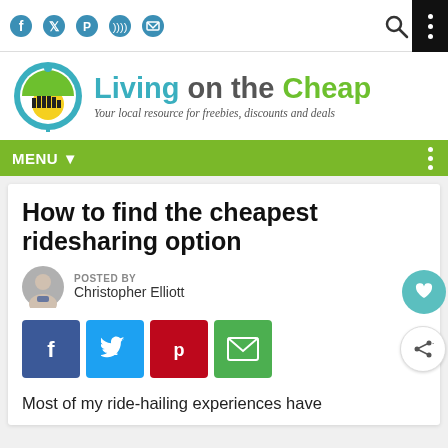Living on the Cheap — Your local resource for freebies, discounts and deals
[Figure (logo): Living on the Cheap logo with circular city/coin icon and site name]
MENU
How to find the cheapest ridesharing option
POSTED BY Christopher Elliott
[Figure (infographic): Social share buttons: Facebook (blue), Twitter (light blue), Pinterest (red), Email (green)]
Most of my ride-hailing experiences have